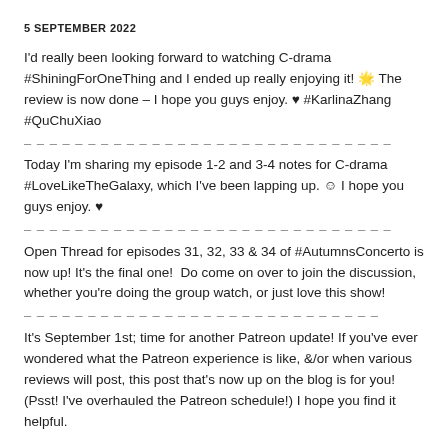5 SEPTEMBER 2022
I'd really been looking forward to watching C-drama #ShiningForOneThing and I ended up really enjoying it! 🌟 The review is now done – I hope you guys enjoy. ♥ #KarlinaZhang #QuChuXiao
Today I'm sharing my episode 1-2 and 3-4 notes for C-drama #LoveLikeTheGalaxy, which I've been lapping up. 😊 I hope you guys enjoy. ♥
Open Thread for episodes 31, 32, 33 & 34 of #AutumnsConcerto is now up! It's the final one!  Do come on over to join the discussion, whether you're doing the group watch, or just love this show!
It's September 1st; time for another Patreon update! If you've ever wondered what the Patreon experience is like, &/or when various reviews will post, this post that's now up on the blog is for you! (Psst! I've overhauled the Patreon schedule!) I hope you find it helpful.